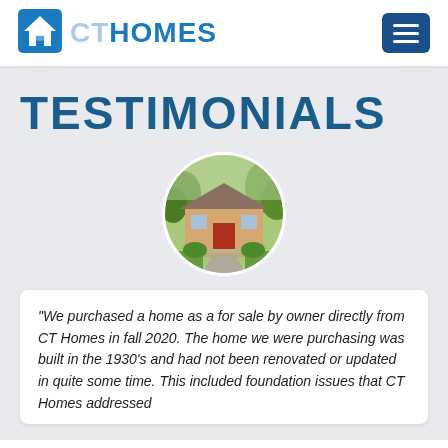CT HOMES
TESTIMONIALS
[Figure (photo): Circular cropped photograph of a single-story house with a red front door, concrete walkway, and surrounding trees and landscaping.]
"We purchased a home as a for sale by owner directly from CT Homes in fall 2020. The home we were purchasing was built in the 1930's and had not been renovated or updated in quite some time. This included foundation issues that CT Homes addressed